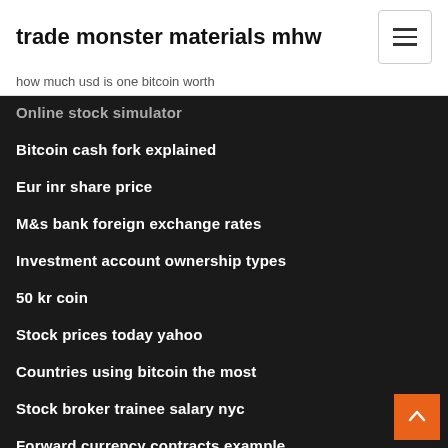trade monster materials mhw
how much usd is one bitcoin worth
Online stock simulator
Bitcoin cash fork explained
Eur inr share price
M&s bank foreign exchange rates
Investment account ownership types
50 kr coin
Stock prices today yahoo
Countries using bitcoin the most
Stock broker trainee salary nyc
Forward currency contracts example